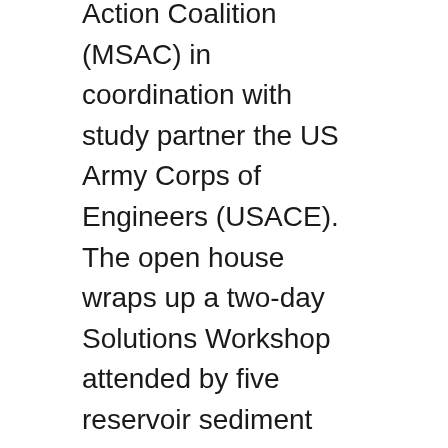Action Coalition (MSAC) in coordination with study partner the US Army Corps of Engineers (USACE). The open house wraps up a two-day Solutions Workshop attended by five reservoir sediment management experts, USACE staff and MSAC representatives. The open house will feature six stations which the public can visit and hear brief updates on topics ranging from the reservoir's history to innovative solutions discussed in the Solutions Workshop. Within an hour, a person will have an opportunity to hear from each of the experts. MSAC will gather the public's feedback at the open house and afterwards by email via comments@keepitwater.org. The open house runs 9 a.m. to 11 a.m.
“We wanted to approach sediment management in a new way by gathering a cadre of subject matter